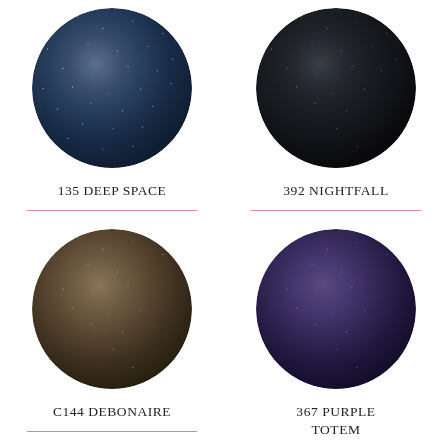[Figure (illustration): Circular carpet swatch showing navy blue speckled texture for color 135 Deep Space]
135 DEEP SPACE
[Figure (illustration): Circular carpet swatch showing very dark charcoal/black speckled texture for color 392 Nightfall]
392 NIGHTFALL
[Figure (illustration): Circular carpet swatch showing brown/taupe speckled texture for color C144 Debonaire]
C144 DEBONAIRE
[Figure (illustration): Circular carpet swatch showing dark purple speckled texture for color 367 Purple Totem]
367 PURPLE TOTEM